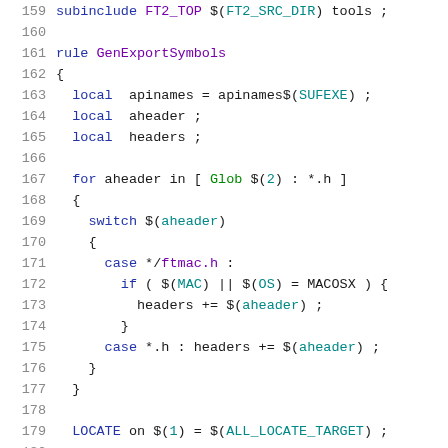[Figure (screenshot): Source code listing showing lines 159-180 of a build script (Jam/Jamfile syntax). The code defines a rule GenExportSymbols with local variables, a for loop, a switch statement with cases for ftmac.h and *.h, and a LOCATE directive.]